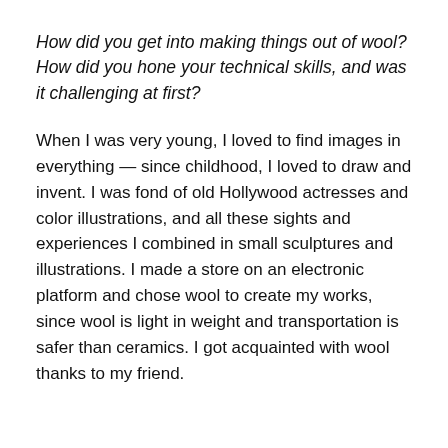How did you get into making things out of wool? How did you hone your technical skills, and was it challenging at first?
When I was very young, I loved to find images in everything — since childhood, I loved to draw and invent. I was fond of old Hollywood actresses and color illustrations, and all these sights and experiences I combined in small sculptures and illustrations. I made a store on an electronic platform and chose wool to create my works, since wool is light in weight and transportation is safer than ceramics. I got acquainted with wool thanks to my friend.